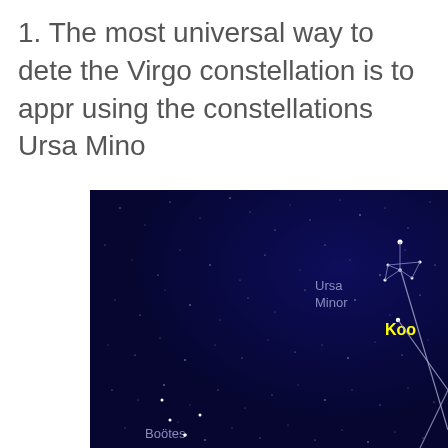1. The most universal way to dete the Virgo constellation is to appr using the constellations Ursa Mino
[Figure (illustration): Star map showing constellations on a dark blue background. Visible labels include 'Ursa Minor' in light blue/gray text, 'Boötes' in light blue/gray text at bottom left, and 'Koo' (partially cut off, likely Kochab or part of another label) in yellow text at right. Constellation lines are drawn in light blue/white connecting stars. Multiple small white dots represent stars scattered across the dark blue sky.]